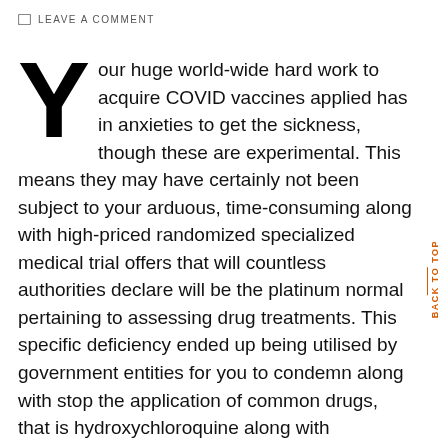LEAVE A COMMENT
Your huge world-wide hard work to acquire COVID vaccines applied has in anxieties to get the sickness, though these are experimental. This means they may have certainly not been subject to your arduous, time-consuming along with high-priced randomized specialized medical trial offers that will countless authorities declare will be the platinum normal pertaining to assessing drug treatments. This specific deficiency ended up being utilised by government entities for you to condemn along with stop the application of common drugs, that is hydroxychloroquine along with ivermectin. Vaccine assessment along with regulating endorsement are actually in a rush. Lost